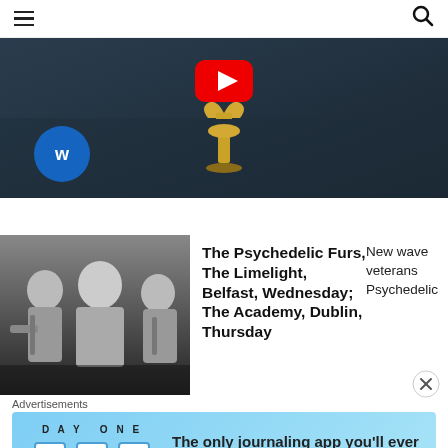☰  🔍
[Figure (screenshot): Video thumbnail showing a dark scene with a golden trophy/cup on a floor, a red YouTube play button overlay, and a Warner Music blue circle logo in the lower left corner.]
[Figure (photo): Black and white photo of The Psychedelic Furs band members, showing three people with musical instruments in a dark setting.]
The Psychedelic Furs, The Limelight, Belfast, Wednesday; The Academy, Dublin, Thursday
New wave veterans Psychedelic
Advertisements
[Figure (infographic): Advertisement banner for Day One journaling app with light blue background. Shows 'DAY ONE' text in spaced letters, three cartoon app icons, and the text 'The only journaling app you'll ever need.']